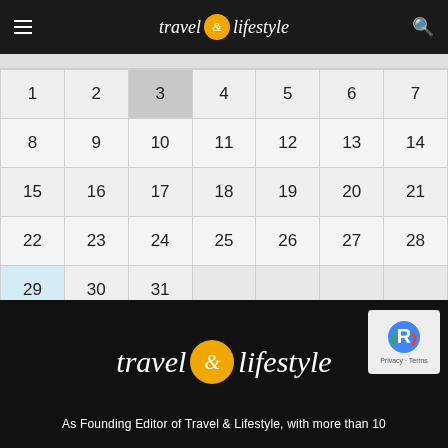travel & lifestyle — navigation header with hamburger menu and search icon
| 1 | 2 | 3 | 4 | 5 | 6 | 7 |
| 8 | 9 | 10 | 11 | 12 | 13 | 14 |
| 15 | 16 | 17 | 18 | 19 | 20 | 21 |
| 22 | 23 | 24 | 25 | 26 | 27 | 28 |
| 29 | 30 | 31 |  |  |  |  |
[Figure (logo): travel & lifestyle logo with orange circle ampersand on black background with reCAPTCHA badge]
As Founding Editor of Travel & Lifestyle, with more than 10